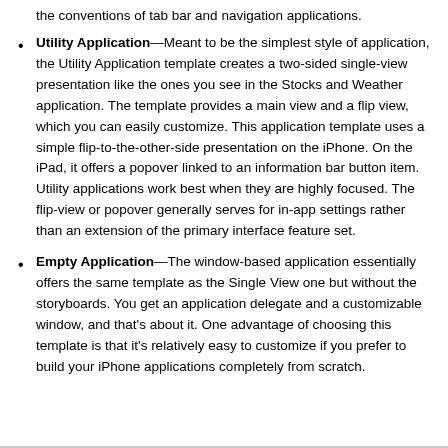the conventions of tab bar and navigation applications.
Utility Application—Meant to be the simplest style of application, the Utility Application template creates a two-sided single-view presentation like the ones you see in the Stocks and Weather application. The template provides a main view and a flip view, which you can easily customize. This application template uses a simple flip-to-the-other-side presentation on the iPhone. On the iPad, it offers a popover linked to an information bar button item. Utility applications work best when they are highly focused. The flip-view or popover generally serves for in-app settings rather than an extension of the primary interface feature set.
Empty Application—The window-based application essentially offers the same template as the Single View one but without the storyboards. You get an application delegate and a customizable window, and that's about it. One advantage of choosing this template is that it's relatively easy to customize if you prefer to build your iPhone applications completely from scratch.